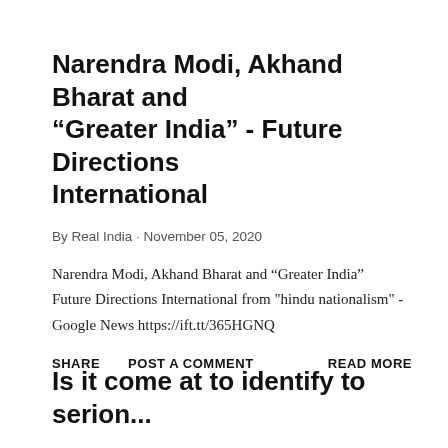Narendra Modi, Akhand Bharat and “Greater India” - Future Directions International
By Real India · November 05, 2020
Narendra Modi, Akhand Bharat and “Greater India” Future Directions International from "hindu nationalism" - Google News https://ift.tt/365HGNQ
SHARE   POST A COMMENT   READ MORE
Is it come at to identify to serion...